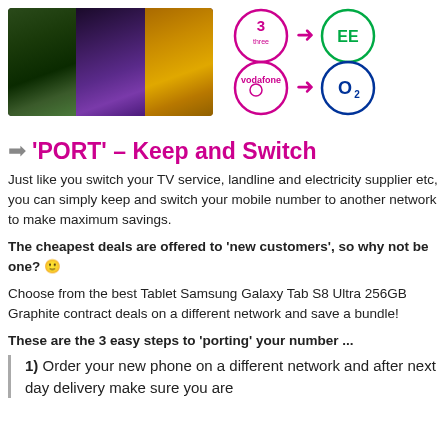[Figure (photo): Three smartphones side by side showing their screens - a green nature wallpaper, a purple wallpaper, and an orange/yellow wallpaper]
[Figure (infographic): Network switching diagram showing Three (3) with arrow pointing to EE, and Vodafone with arrow pointing to O2, all in pink/magenta circles]
➡ 'PORT' – Keep and Switch
Just like you switch your TV service, landline and electricity supplier etc, you can simply keep and switch your mobile number to another network to make maximum savings.
The cheapest deals are offered to 'new customers', so why not be one? 🙂
Choose from the best Tablet Samsung Galaxy Tab S8 Ultra 256GB Graphite contract deals on a different network and save a bundle!
These are the 3 easy steps to 'porting' your number ...
1) Order your new phone on a different network and after next day delivery make sure you are